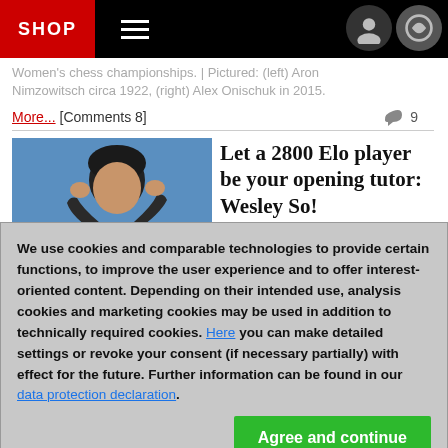SHOP
Women's chess championships. | Pictured: (left) Aron Nimzowitsch circa 1922, (right) Alex Onischuk in 2015.
More... [Comments 8]   9
[Figure (photo): Young man in a blue shirt holding his head in his hands, blue background]
Let a 2800 Elo player be your opening tutor: Wesley So!
We use cookies and comparable technologies to provide certain functions, to improve the user experience and to offer interest-oriented content. Depending on their intended use, analysis cookies and marketing cookies may be used in addition to technically required cookies. Here you can make detailed settings or revoke your consent (if necessary partially) with effect for the future. Further information can be found in our data protection declaration.